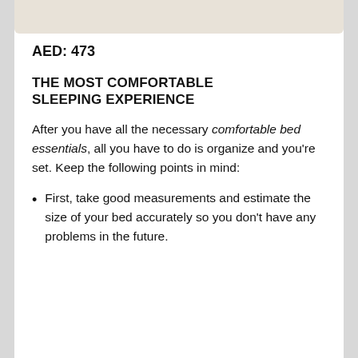[Figure (other): Partial view of a product image (beige/cream colored item) at the top of a mobile product page]
AED: 473
THE MOST COMFORTABLE SLEEPING EXPERIENCE
After you have all the necessary comfortable bed essentials, all you have to do is organize and you're set. Keep the following points in mind:
First, take good measurements and estimate the size of your bed accurately so you don't have any problems in the future.